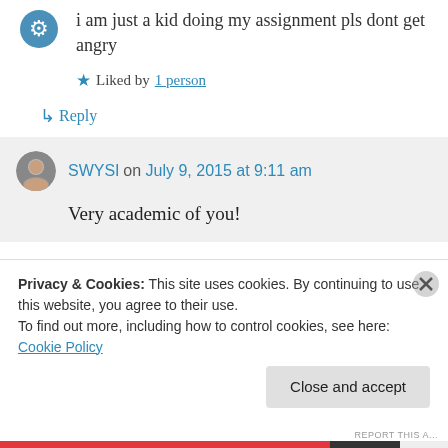i am just a kid doing my assignment pls dont get angry
Liked by 1 person
↳ Reply
SWYSI on July 9, 2015 at 9:11 am
Very academic of you!
Privacy & Cookies: This site uses cookies. By continuing to use this website, you agree to their use. To find out more, including how to control cookies, see here: Cookie Policy
Close and accept